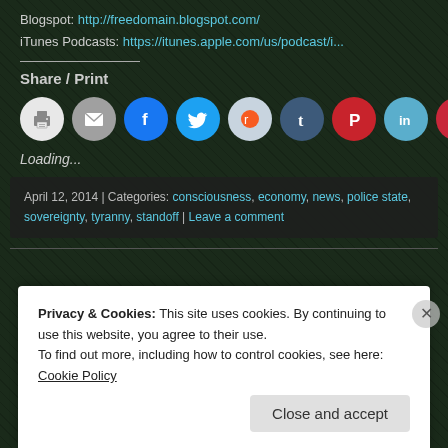Blogspot: http://freedomain.blogspot.com/
iTunes Podcasts: https://itunes.apple.com/us/podcast/i...
Share / Print
[Figure (infographic): Row of social share icon buttons: print, email, Facebook, Twitter, Reddit, Tumblr, Pinterest, LinkedIn, Pocket]
Loading...
April 12, 2014 | Categories: consciousness, economy, news, police state, sovereignty, tyranny, standoff | Leave a comment
Privacy & Cookies: This site uses cookies. By continuing to use this website, you agree to their use.
To find out more, including how to control cookies, see here: Cookie Policy
Close and accept